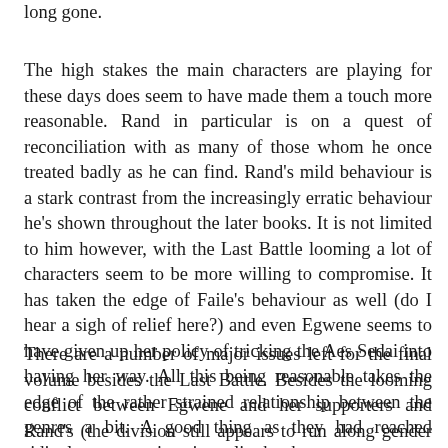long gone.
The high stakes the main characters are playing for these days does seem to have made them a touch more reasonable. Rand in particular is on a quest of reconciliation with as many of those whom he once treated badly as he can find. Rand's mild behaviour is a stark contrast from the increasingly erratic behaviour he's shown throughout the later books. It is not limited to him however, with the Last Battle looming a lot of characters seem to be more willing to compromise. It has taken the edge of Faile's behaviour as well (do I hear a sigh of relief here?) and even Egwene seems to have given up her policy of tricking the Aes Sedai into having her way. All this being reasonable takes the edge of the rather strained relationship between the genres a bit. A good thing as they had reached ridiculous proportions in earlier books.
There are a number of major issues left for the final volume besides the Last Battle. Besides the looming conflict between Egwene and her supporters and Rand's (the division still appears to run along gender lines for this one) the Seanchan prophecy that the Dragon will kneel before the